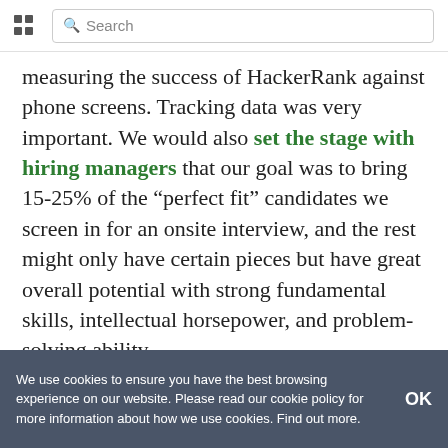Search
measuring the success of HackerRank against phone screens. Tracking data was very important. We would also set the stage with hiring managers that our goal was to bring 15-25% of the “perfect fit” candidates we screen in for an onsite interview, and the rest might only have certain pieces but have great overall potential with strong fundamental skills, intellectual horsepower, and problem-solving ability.
We use cookies to ensure you have the best browsing experience on our website. Please read our cookie policy for more information about how we use cookies. Find out more.